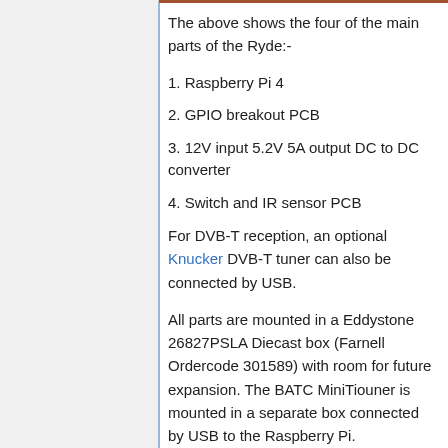The above shows the four of the main parts of the Ryde:-
1. Raspberry Pi 4
2. GPIO breakout PCB
3. 12V input 5.2V 5A output DC to DC converter
4. Switch and IR sensor PCB
For DVB-T reception, an optional Knucker DVB-T tuner can also be connected by USB.
All parts are mounted in a Eddystone 26827PSLA Diecast box (Farnell Ordercode 301589) with room for future expansion. The BATC MiniTiouner is mounted in a separate box connected by USB to the Raspberry Pi.
Version 2